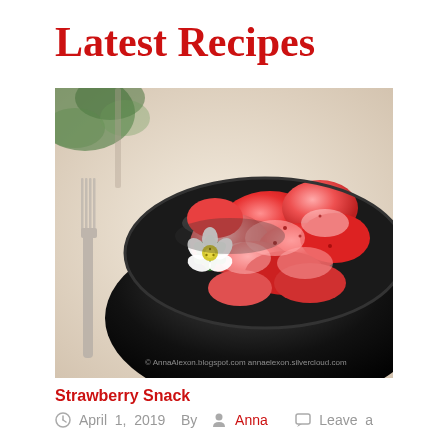Latest Recipes
[Figure (photo): A black bowl filled with sliced fresh strawberries and a small white strawberry flower garnish, photographed on a light wooden surface with a fork visible on the left side and green herbs blurred in the background. Watermark text visible at bottom.]
Strawberry Snack
April 1, 2019   By   Anna   Leave a